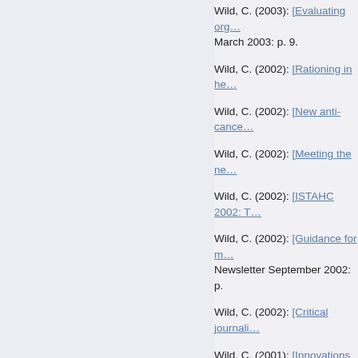Wild, C. (2003): [Evaluating org...] March 2003: p. 9.
Wild, C. (2002): [Rationing in he...
Wild, C. (2002): [New anti-cance...
Wild, C. (2002): [Meeting the ne...
Wild, C. (2002): [ISTAHC 2002: T...
Wild, C. (2002): [Guidance for m...] Newsletter September 2002: p.
Wild, C. (2002): [Critical journali...
Wild, C. (2001): [Innovations an...
Wild, C. (2001): [Project on gene...
Wild, C. (2001): [Limits of the ev...] 10.
Wild, C. (2001): [HTA newsletter...
Wild, C. (2001): [Stem cells: Quo...